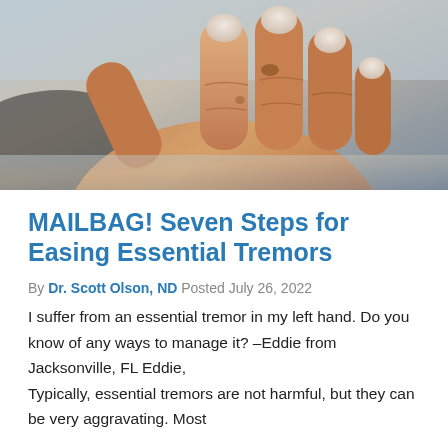[Figure (photo): Close-up photo of an elderly person's hand with fingers slightly curled, shown against a blurred background. The skin shows age spots and wrinkles, suggesting the subject is elderly.]
MAILBAG! Seven Steps for Easing Essential Tremors
By Dr. Scott Olson, ND Posted July 26, 2022
I suffer from an essential tremor in my left hand. Do you know of any ways to manage it? –Eddie from Jacksonville, FL Eddie,
Typically, essential tremors are not harmful, but they can be very aggravating. Most